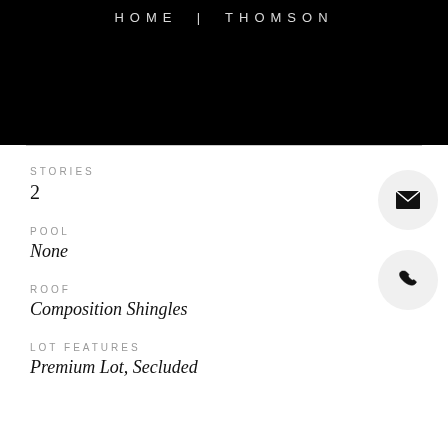HOME | THOMSON
STORIES
2
POOL
None
ROOF
Composition Shingles
LOT FEATURES
Premium Lot, Secluded